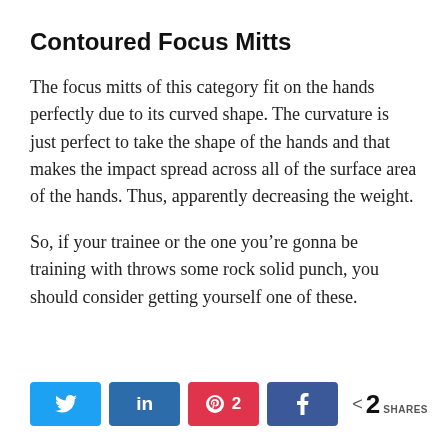Contoured Focus Mitts
The focus mitts of this category fit on the hands perfectly due to its curved shape. The curvature is just perfect to take the shape of the hands and that makes the impact spread across all of the surface area of the hands. Thus, apparently decreasing the weight.
So, if your trainee or the one you’re gonna be training with throws some rock solid punch, you should consider getting yourself one of these.
Twitter share button, LinkedIn share button, Pinterest share button (2), Facebook share button, < 2 SHARES